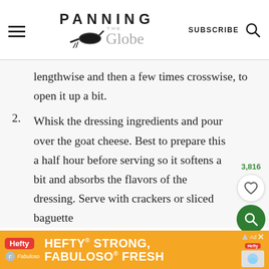PANNING THE Globe — SUBSCRIBE
lengthwise and then a few times crosswise, to open it up a bit.
2. Whisk the dressing ingredients and pour over the goat cheese. Best to prepare this a half hour before serving so it softens a bit and absorbs the flavors of the dressing. Serve with crackers or sliced baguette
[Figure (other): Hefty / Fabuloso ad banner: HEFTY STRONG, FABULOSO FRESH]
3,816